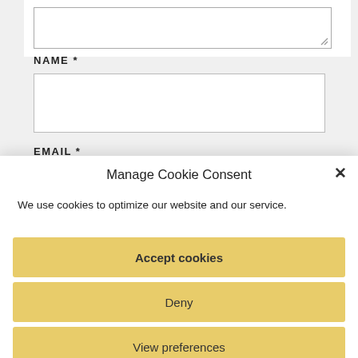[textarea box at top]
NAME *
[name input box]
EMAIL *
Manage Cookie Consent
We use cookies to optimize our website and our service.
Accept cookies
Deny
View preferences